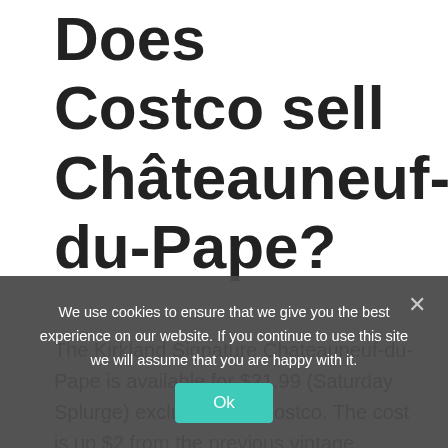Does Costco sell Châteauneuf-du-Pape?
The Kirkland Signature Chateauneuf-du-Pape is available for $21.99 (Saturday Splurge) exclusively at Costco. The cost is up $2 from the previous vintage. Today's Costco pick is a wine we've covered and recommended several times. The wine used to be made by Domaine de Nalys, which was even displayed on the front label.
There are 320 wine growers in Châteauneuf-du-Pape's syndicate of vignerons. There are 7,746 acres of vineyards (3134 hectares) in the region, which produces approximately 1
We use cookies to ensure that we give you the best experience on our website. If you continue to use this site we will assume that you are happy with it.